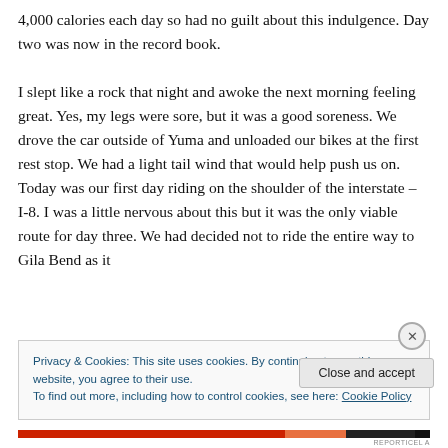4,000 calories each day so had no guilt about this indulgence. Day two was now in the record book.

I slept like a rock that night and awoke the next morning feeling great. Yes, my legs were sore, but it was a good soreness. We drove the car outside of Yuma and unloaded our bikes at the first rest stop. We had a light tail wind that would help push us on. Today was our first day riding on the shoulder of the interstate – I-8. I was a little nervous about this but it was the only viable route for day three. We had decided not to ride the entire way to Gila Bend as it
Privacy & Cookies: This site uses cookies. By continuing to use this website, you agree to their use.
To find out more, including how to control cookies, see here: Cookie Policy
Close and accept